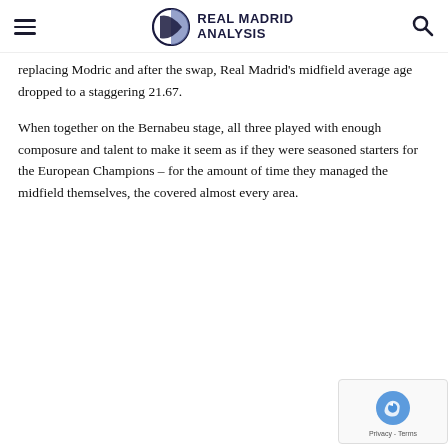Real Madrid Analysis
replacing Modric and after the swap, Real Madrid's midfield average age dropped to a staggering 21.67.
When together on the Bernabeu stage, all three played with enough composure and talent to make it seem as if they were seasoned starters for the European Champions – for the amount of time they managed the midfield themselves, the covered almost every area.